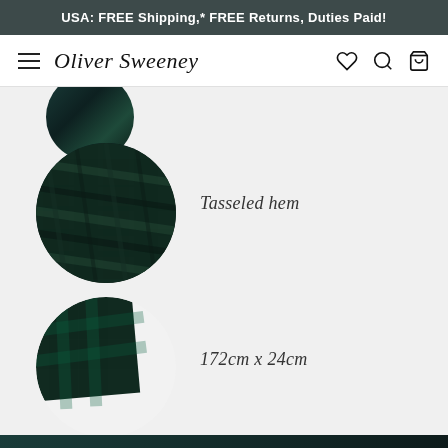USA: FREE Shipping,* FREE Returns, Duties Paid!
[Figure (screenshot): Oliver Sweeney navigation bar with hamburger menu, brand logo in italic script, and icons for wishlist, search, and shopping bag]
[Figure (photo): Circular close-up photo of dark teal textured fabric showing tasseled hem detail]
Tasseled hem
[Figure (photo): Circular photo with light background showing dark teal scarf fabric corner]
172cm x 24cm